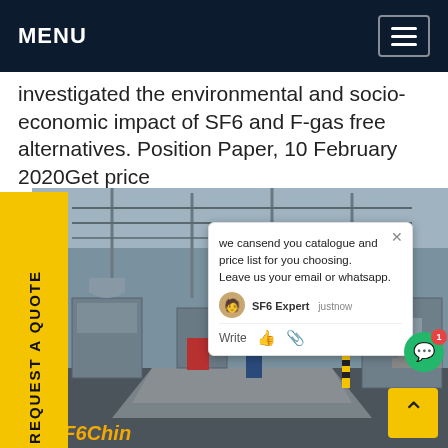MENU
investigated the environmental and socio-economic impact of SF6 and F-gas free alternatives. Position Paper, 10 February 2020Get price
[Figure (photo): Industrial electrical substation with a worker in blue coveralls standing on a walkway, surrounded by high-voltage equipment, pipes, and overhead wires]
REQUEST A QUOTE
we cansend you catalogue and price list for you choosing.
Leave us your email or whatsapp.
SF6 Expert   justnow
Write